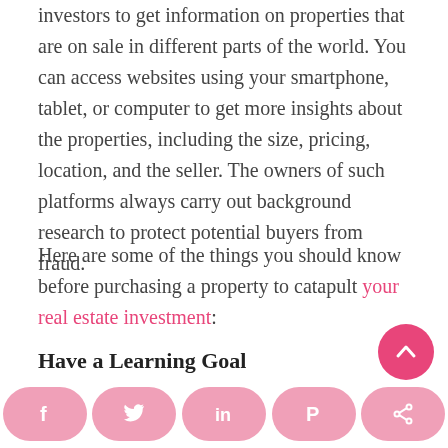investors to get information on properties that are on sale in different parts of the world. You can access websites using your smartphone, tablet, or computer to get more insights about the properties, including the size, pricing, location, and the seller. The owners of such platforms always carry out background research to protect potential buyers from fraud.
Here are some of the things you should know before purchasing a property to catapult your real estate investment:
Have a Learning Goal
This means committing your time and money to learning more about PNG real estate industry before
[Figure (other): Social sharing bar at bottom with Facebook, Twitter, LinkedIn, Pinterest, and share icons in pink rounded buttons, and a pink scroll-to-top button]